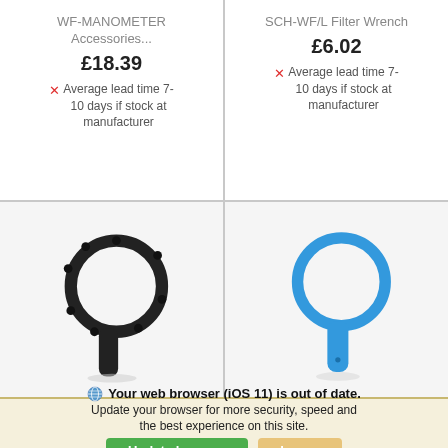WF-MANOMETER Accessories...
£18.39
Average lead time 7-10 days if stock at manufacturer
SCH-WF/L Filter Wrench
£6.02
Average lead time 7-10 days if stock at manufacturer
[Figure (photo): Black plastic filter wrench tool with circular head and handle]
[Figure (photo): Blue plastic filter wrench tool with circular head and handle]
Your web browser (iOS 11) is out of date. Update your browser for more security, speed and the best experience on this site.
Update browser
Ignore